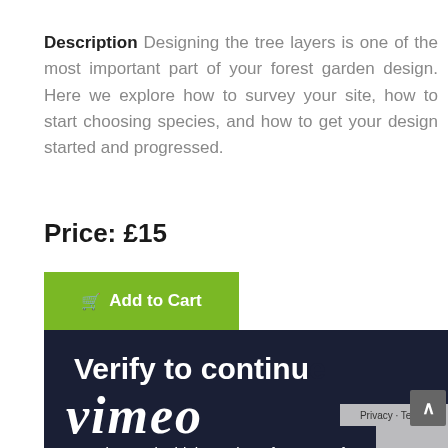Description Designing the tree layers is one of the most important part of your forest garden design. Here we explore how to survey your site, how to start choosing species, and how to get your design started and progressed.
Price: £15
Add to Cart
[Figure (screenshot): Vimeo verification overlay on dark navy background with text 'Verify to continue', 'vimeo' logo, and body text 'We detected a high number of requests from your connection. To continue please confirm that you're a']